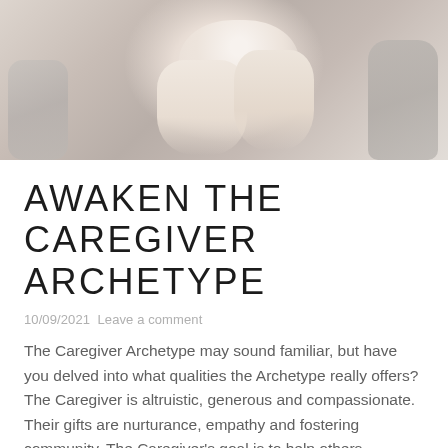[Figure (photo): A person in a white knit sweater holding their hands near their face/chest, with soft grey tones in the background.]
AWAKEN THE CAREGIVER ARCHETYPE
10/09/2021  Leave a comment
The Caregiver Archetype may sound familiar, but have you delved into what qualities the Archetype really offers? The Caregiver is altruistic, generous and compassionate. Their gifts are nurturance, empathy and fostering community. The Caregiver's goal is to help others.